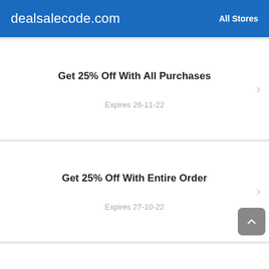dealsalecode.com    All Stores
Get 25% Off With All Purchases
Expires 26-11-22
Get 25% Off With Entire Order
Expires 27-10-22
30% Off Discount
Expires 26-11-22